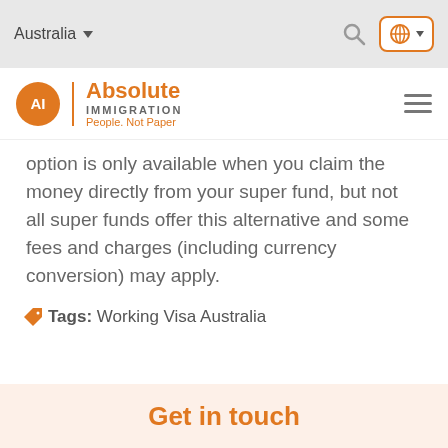Australia
[Figure (logo): Absolute Immigration logo with orange circle containing 'AI', orange vertical divider, text 'Absolute IMMIGRATION People. Not Paper']
option is only available when you claim the money directly from your super fund, but not all super funds offer this alternative and some fees and charges (including currency conversion) may apply.
Tags: Working Visa Australia
Get in touch